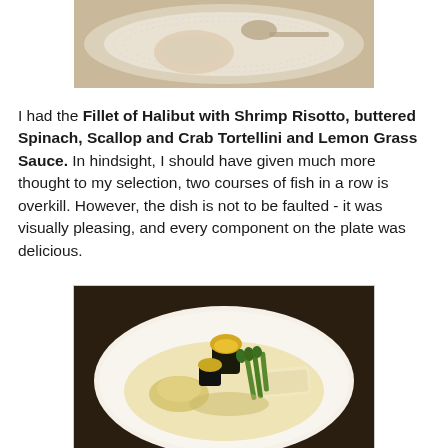[Figure (photo): Top partial photo showing a dessert or food item on a plate with a doily and spoon, cropped at top]
I had the Fillet of Halibut with Shrimp Risotto, buttered Spinach, Scallop and Crab Tortellini and Lemon Grass Sauce. In hindsight, I should have given much more thought to my selection, two courses of fish in a row is overkill. However, the dish is not to be faulted - it was visually pleasing, and every component on the plate was delicious.
[Figure (photo): Photo of a plated Fillet of Halibut dish with Shrimp Risotto, buttered Spinach, Scallop and Crab Tortellini and Lemon Grass Sauce on a white plate]